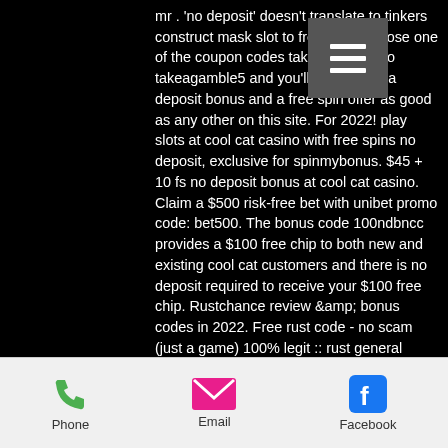mr . 'no deposit' doesn't translate to tinkers construct mask slot to free play. Choose one of the coupon codes takeagamble1 to takeagamble5 and you'll get at least a deposit bonus and a free spin offer as good as any other on this site. For 2022! play slots at cool cat casino with free spins no deposit, exclusive for spinmybonus. $45 + 10 fs no deposit bonus at cool cat casino. Claim a $500 risk-free bet with unibet promo code: bet500. The bonus code 100ndbncc provides a $100 free chip to both new and existing cool cat customers and there is no deposit required to receive your $100 free chip. Rustchance review &amp; bonus codes in 2022. Free rust code - no scam (just a game) 100% legit :: rust general discussions. These no deposit bonus codes award new players with free casino chips to play on real
[Figure (other): Hamburger menu button (three horizontal lines on grey square background)]
Phone   Email   Facebook